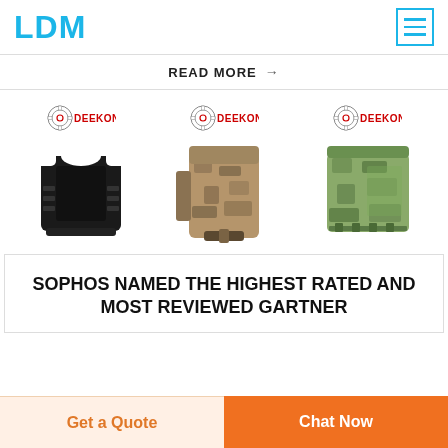LDM
READ MORE →
[Figure (photo): Three DEEKON branded military/tactical products: a black body armor vest, a camouflage tactical backpack, and a camouflage MOLLE pouch, each with the DEEKON logo above.]
SOPHOS NAMED THE HIGHEST RATED AND MOST REVIEWED GARTNER
Get a Quote
Chat Now